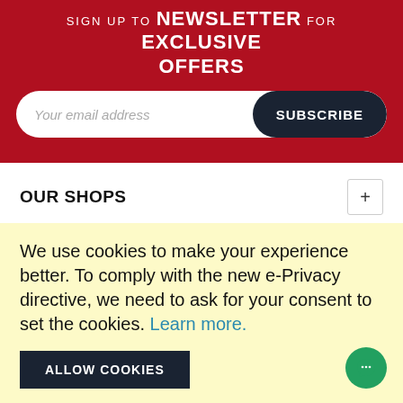SIGN UP TO NEWSLETTER FOR EXCLUSIVE OFFERS
Your email address
SUBSCRIBE
OUR SHOPS
Hollywood Fancy Dress
31-35 Castle Lane West, Bournemouth DORSET BH9 3LH
Hollywood Just For Fun
31-37 Queensway, Southampton HAMPSHIRE SO14 3BL
We use cookies to make your experience better. To comply with the new e-Privacy directive, we need to ask for your consent to set the cookies. Learn more.
ALLOW COOKIES